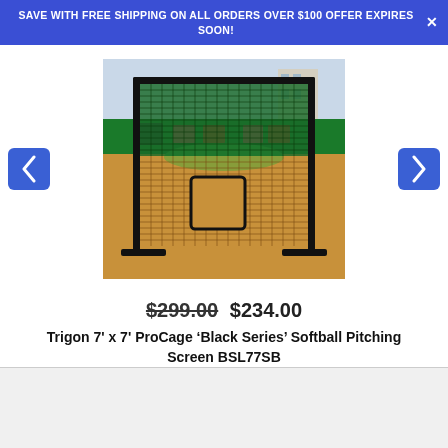SAVE WITH FREE SHIPPING ON ALL ORDERS OVER $100 OFFER EXPIRES SOON!
[Figure (photo): A black metal pitching screen (7x7 ft) with a square cutout opening, displayed on a baseball/softball field with green grass and stadium outfield wall in the background.]
$299.00  $234.00
Trigon 7' x 7' ProCage ‘Black Series’ Softball Pitching Screen BSL77SB